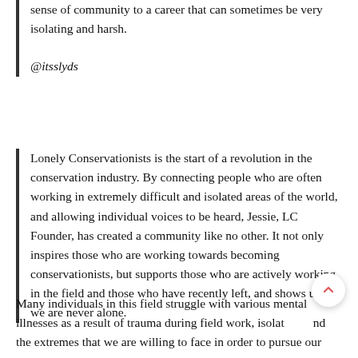sense of community to a career that can sometimes be very isolating and harsh.
@itsslyds
Lonely Conservationists is the start of a revolution in the conservation industry. By connecting people who are often working in extremely difficult and isolated areas of the world, and allowing individual voices to be heard, Jessie, LC Founder, has created a community like no other. It not only inspires those who are working towards becoming conservationists, but supports those who are actively working in the field and those who have recently left, and shows us that we are never alone.
Many individuals in this field struggle with various mental illnesses as a result of trauma during field work, isolation and the extremes that we are willing to face in order to pursue our passions, and Jessie is working hard not only to bring a "taboo" topic into light, but to find ways to provide support and help...